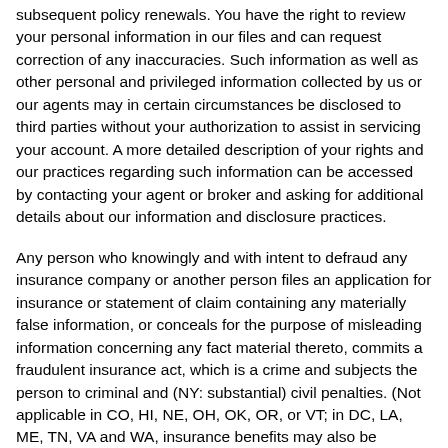subsequent policy renewals. You have the right to review your personal information in our files and can request correction of any inaccuracies. Such information as well as other personal and privileged information collected by us or our agents may in certain circumstances be disclosed to third parties without your authorization to assist in servicing your account. A more detailed description of your rights and our practices regarding such information can be accessed by contacting your agent or broker and asking for additional details about our information and disclosure practices.
Any person who knowingly and with intent to defraud any insurance company or another person files an application for insurance or statement of claim containing any materially false information, or conceals for the purpose of misleading information concerning any fact material thereto, commits a fraudulent insurance act, which is a crime and subjects the person to criminal and (NY: substantial) civil penalties. (Not applicable in CO, HI, NE, OH, OK, OR, or VT; in DC, LA, ME, TN, VA and WA, insurance benefits may also be denied).
Cookies